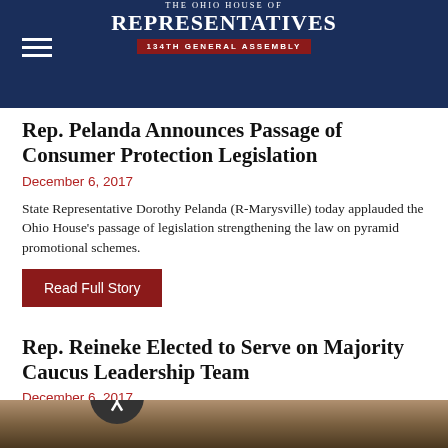THE OHIO HOUSE OF REPRESENTATIVES 134TH GENERAL ASSEMBLY
Rep. Pelanda Announces Passage of Consumer Protection Legislation
December 6, 2017
State Representative Dorothy Pelanda (R-Marysville) today applauded the Ohio House’s passage of legislation strengthening the law on pyramid promotional schemes.
Read Full Story
Rep. Reineke Elected to Serve on Majority Caucus Leadership Team
December 6, 2017
[Figure (photo): Photo strip at bottom of page showing a meeting scene, partially visible]